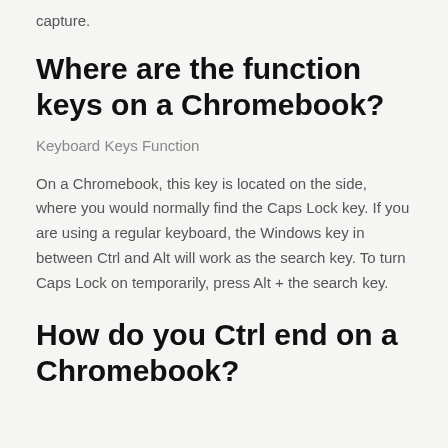capture.
Where are the function keys on a Chromebook?
Keyboard Keys Function
On a Chromebook, this key is located on the side, where you would normally find the Caps Lock key. If you are using a regular keyboard, the Windows key in between Ctrl and Alt will work as the search key. To turn Caps Lock on temporarily, press Alt + the search key.
How do you Ctrl end on a Chromebook?